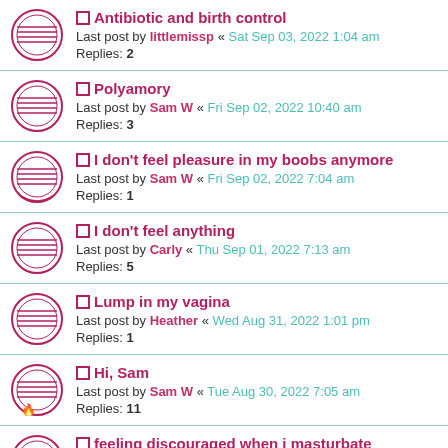Antibiotic and birth control
Last post by littlemissp « Sat Sep 03, 2022 1:04 am
Replies: 2
Polyamory
Last post by Sam W « Fri Sep 02, 2022 10:40 am
Replies: 3
I don't feel pleasure in my boobs anymore
Last post by Sam W « Fri Sep 02, 2022 7:04 am
Replies: 1
I don't feel anything
Last post by Carly « Thu Sep 01, 2022 7:13 am
Replies: 5
Lump in my vagina
Last post by Heather « Wed Aug 31, 2022 1:01 pm
Replies: 1
Hi, Sam
Last post by Sam W « Tue Aug 30, 2022 7:05 am
Replies: 11
feeling discouraged when i masturbate
Last post by Elise « Mon Aug 29, 2022 5:01 am
Replies: 5
Underlying fears
Last post by Elise « Mon Aug 29, 2022 3:34 am